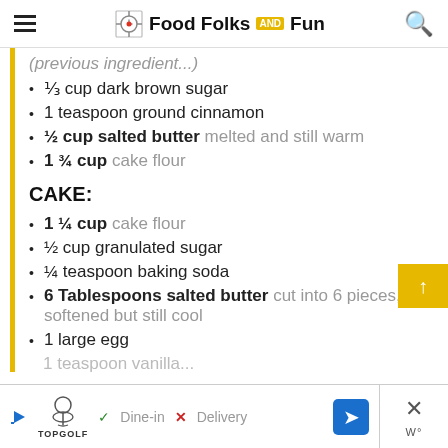Food Folks and Fun
⅓ cup dark brown sugar
1 teaspoon ground cinnamon
½ cup salted butter melted and still warm
1 ¾ cup cake flour
CAKE:
1 ¼ cup cake flour
½ cup granulated sugar
¼ teaspoon baking soda
6 Tablespoons salted butter cut into 6 pieces, softened but still cool
1 large egg